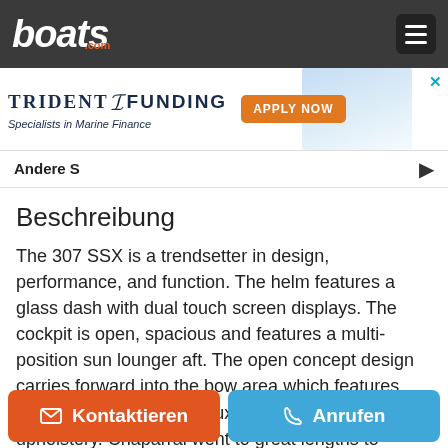boats.com
[Figure (infographic): Trident Funding advertisement banner with logo, 'Specialists in Marine Finance' tagline, orange APPLY NOW button, and boat image]
Andere S
Beschreibung
The 307 SSX is a trendsetter in design, performance, and function. The helm features a glass dash with dual touch screen displays. The cockpit is open, spacious and features a multi-position sun lounger aft. The open concept design carries forward into the bow area which features hinged storage beneath luxuriously appointed upholstery. Chaparral went to great lengths to create a powerful and agile craft that glides through the water with minimal noise. We designed the 307 SSX with the most up to date and
Kontaktieren | Anrufen